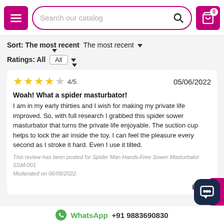Search our catalog
Sort: The most recent  The most recent ▾
Ratings: All  All ▾
[Figure (other): Star rating: 4 out of 5 stars, dated 05/06/2022]
Woah! What a spider masturbator!
I am in my early thirties and I wish for making my private life improved. So, with full research I grabbed this spider sower masturbator that turns the private life enjoyable. The suction cup helps to lock the air inside the toy. I can feel the pleasure every second as I stroke it hard. Even I use it tilted.
This review has been posted for Spider Man Hands-Free Sower Masturbator SSM-001
Moderated on 06/08/2022.
WhatsApp +91 9883690830